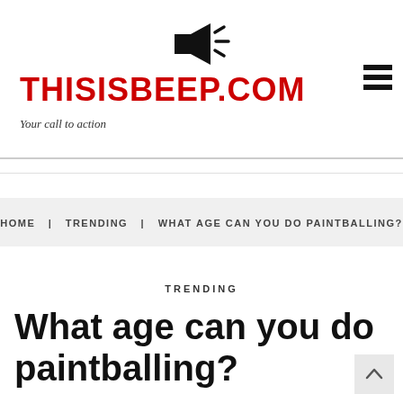[Figure (illustration): Megaphone/loudspeaker icon in black, centered at top of page]
THISISBEEP.COM
Your call to action
HOME | TRENDING | WHAT AGE CAN YOU DO PAINTBALLING?
TRENDING
What age can you do paintballing?